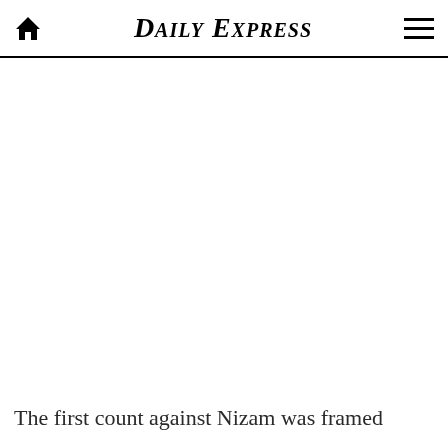Daily Express
[Figure (other): Large white/blank image area below the header, likely a photo placeholder or article image]
The first count against Nizam was framed